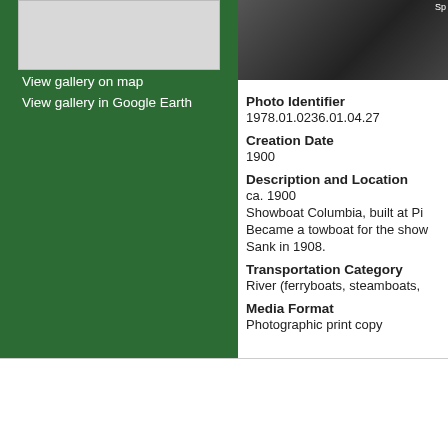[Figure (map): Map placeholder thumbnail in gray on green background]
View gallery on map
View gallery in Google Earth
[Figure (photo): Black and white historical photo of Showboat Columbia]
Photo Identifier
1978.01.0236.01.04.27
Creation Date
1900
Description and Location
ca. 1900
Showboat Columbia, built at Pi
Became a towboat for the show
Sank in 1908.
Transportation Category
River (ferryboats, steamboats,
Media Format
Photographic print copy
[Figure (logo): DigitalCommons powered by bepress logo]
Home | About | FAQ | My Acco
Privacy  Copyright
Trademarked and copyrighted images and